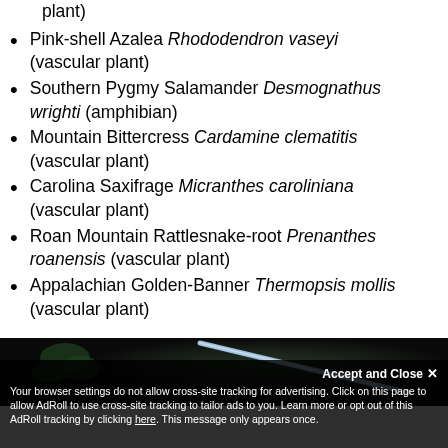plant) [truncated top]
Pink-shell Azalea Rhododendron vaseyi (vascular plant)
Southern Pygmy Salamander Desmognathus wrighti (amphibian)
Mountain Bittercress Cardamine clematitis (vascular plant)
Carolina Saxifrage Micranthes caroliniana (vascular plant)
Roan Mountain Rattlesnake-root Prenanthes roanensis (vascular plant)
Appalachian Golden-Banner Thermopsis mollis (vascular plant)
[Figure (photo): Dark nature photo showing plant foliage with a light beam or rod against a dark background]
Accept and Close ✕
Your browser settings do not allow cross-site tracking for advertising. Click on this page to allow AdRoll to use cross-site tracking to tailor ads to you. Learn more or opt out of this AdRoll tracking by clicking here. This message only appears once.